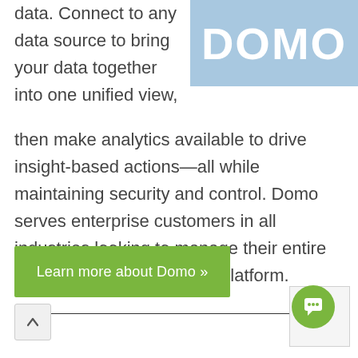[Figure (logo): Domo logo — white letters 'DOMO' on a light blue rectangle background, partially cropped at top-right]
data. Connect to any data source to bring your data together into one unified view, then make analytics available to drive insight-based actions—all while maintaining security and control. Domo serves enterprise customers in all industries looking to manage their entire organization from a single platform.
[Figure (other): Green button with white text: Learn more about Domo »]
↑
[Figure (other): Green circular chat bubble icon at bottom right]